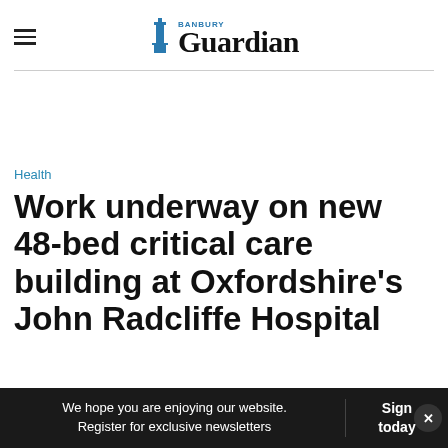Banbury Guardian
Health
Work underway on new 48-bed critical care building at Oxfordshire's John Radcliffe Hospital
We hope you are enjoying our website. Register for exclusive newsletters | Sign today